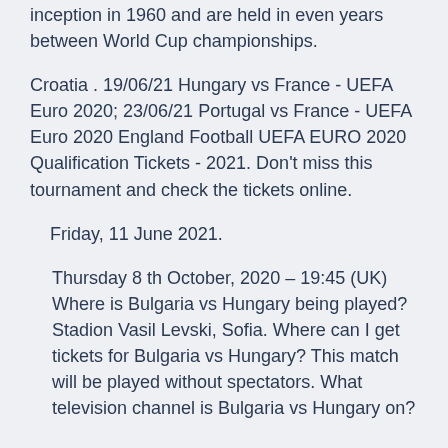inception in 1960 and are held in even years between World Cup championships.
Croatia . 19/06/21 Hungary vs France - UEFA Euro 2020; 23/06/21 Portugal vs France - UEFA Euro 2020 England Football UEFA EURO 2020 Qualification Tickets - 2021. Don't miss this tournament and check the tickets online.
Friday, 11 June 2021.
Thursday 8 th October, 2020 – 19:45 (UK) Where is Bulgaria vs Hungary being played? Stadion Vasil Levski, Sofia. Where can I get tickets for Bulgaria vs Hungary? This match will be played without spectators. What television channel is Bulgaria vs Hungary on?